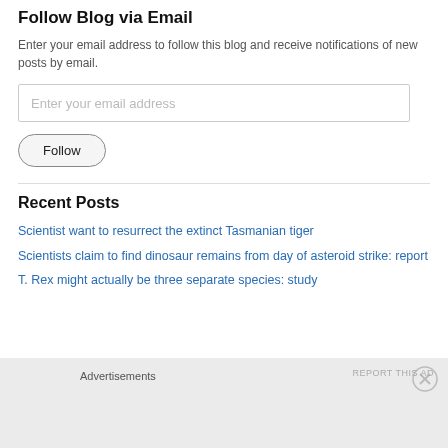Follow Blog via Email
Enter your email address to follow this blog and receive notifications of new posts by email.
[Figure (other): Email input field with placeholder 'Enter your email address' and a Follow button]
Recent Posts
Scientist want to resurrect the extinct Tasmanian tiger
Scientists claim to find dinosaur remains from day of asteroid strike: report
T. Rex might actually be three separate species: study
Advertisements